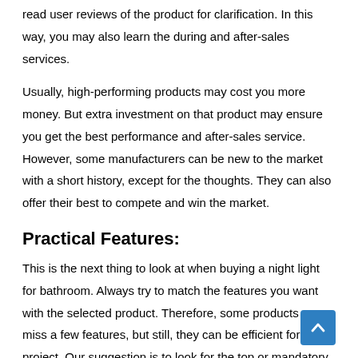read user reviews of the product for clarification. In this way, you may also learn the during and after-sales services.
Usually, high-performing products may cost you more money. But extra investment on that product may ensure you get the best performance and after-sales service. However, some manufacturers can be new to the market with a short history, except for the thoughts. They can also offer their best to compete and win the market.
Practical Features:
This is the next thing to look at when buying a night light for bathroom. Always try to match the features you want with the selected product. Therefore, some products may miss a few features, but still, they can be efficient for your project. Our suggestion is to look for the top or mandatory features of the multiple products. Then, you can compare and select the specific